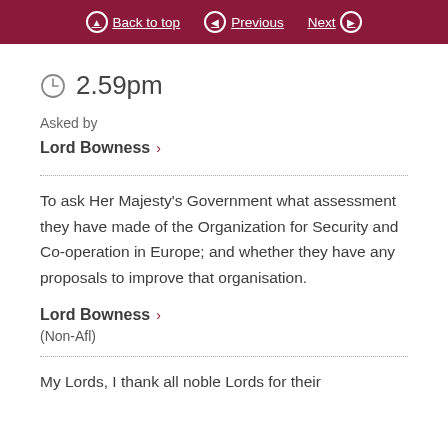Back to top  Previous  Next
2.59pm
Asked by
Lord Bowness >
To ask Her Majesty's Government what assessment they have made of the Organization for Security and Co-operation in Europe; and whether they have any proposals to improve that organisation.
Lord Bowness >
(Non-Afl)
My Lords, I thank all noble Lords for their